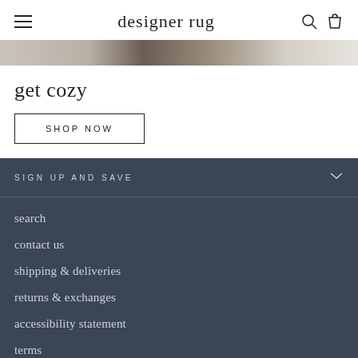designer rug
[Figure (photo): Partial image strip showing rugs or home decor in neutral tones]
get cozy
SHOP NOW
SIGN UP AND SAVE
search
contact us
shipping & deliveries
returns & exchanges
accessibility statement
terms
radio